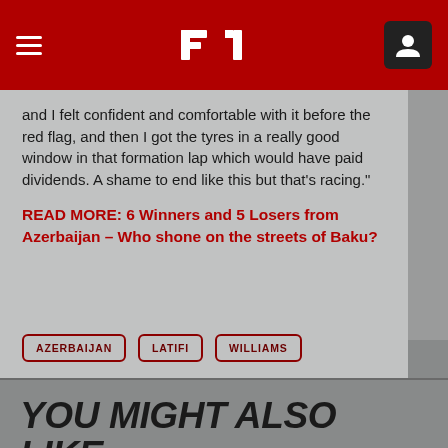F1 Header Navigation Bar
and I felt confident and comfortable with it before the red flag, and then I got the tyres in a really good window in that formation lap which would have paid dividends. A shame to end like this but that’s racing.”
READ MORE: 6 Winners and 5 Losers from Azerbaijan – Who shone on the streets of Baku?
AZERBAIJAN
LATIFI
WILLIAMS
YOU MIGHT ALSO LIKE